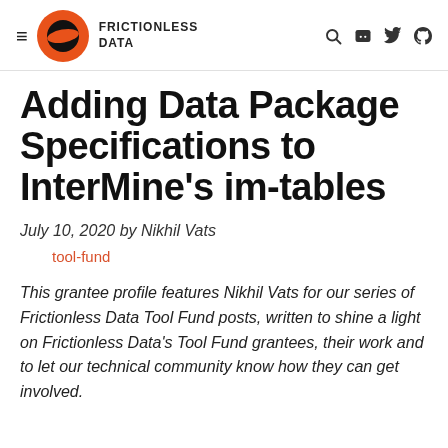FRICTIONLESS DATA
Adding Data Package Specifications to InterMine's im-tables
July 10, 2020 by Nikhil Vats
tool-fund
This grantee profile features Nikhil Vats for our series of Frictionless Data Tool Fund posts, written to shine a light on Frictionless Data's Tool Fund grantees, their work and to let our technical community know how they can get involved.